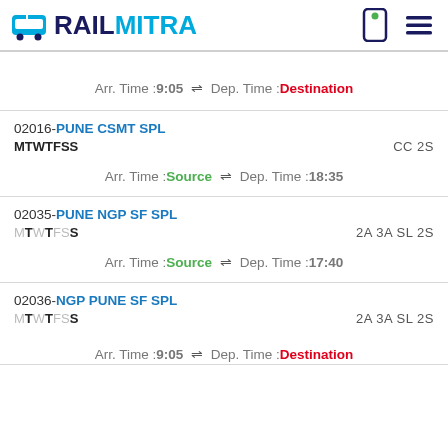RAILMITRA
Arr. Time :9:05 ⇌ Dep. Time :Destination
02016-PUNE CSMT SPL
MTWTFSS
CC 2S
Arr. Time :Source ⇌ Dep. Time :18:35
02035-PUNE NGP SF SPL
MTWTFSS
2A 3A SL 2S
Arr. Time :Source ⇌ Dep. Time :17:40
02036-NGP PUNE SF SPL
MTWTFSS
2A 3A SL 2S
Arr. Time :9:05 ⇌ Dep. Time :Destination